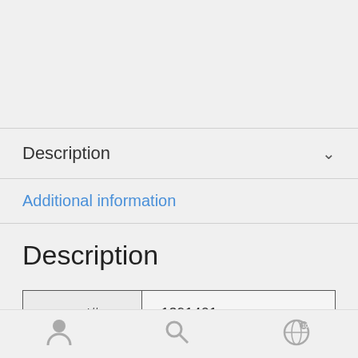Description
Additional information
Description
| part# | 1391401 |
| --- | --- |
| serial# | 2256365 |